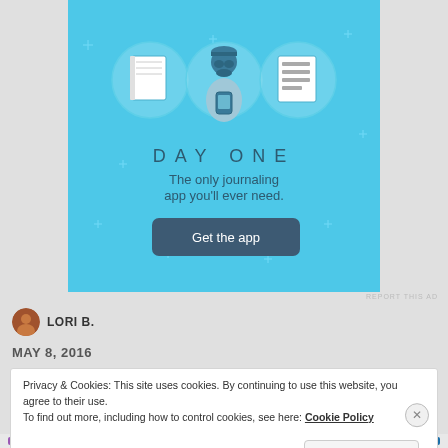[Figure (illustration): Day One journaling app advertisement on a blue background with illustrated icons of a notebook, a person holding a phone, and a list/document. Text reads DAY ONE - The only journaling app you'll ever need. - Get the app button.]
REPORT THIS AD
LORI B.
MAY 8, 2016
Privacy & Cookies: This site uses cookies. By continuing to use this website, you agree to their use.
To find out more, including how to control cookies, see here: Cookie Policy
Close and accept